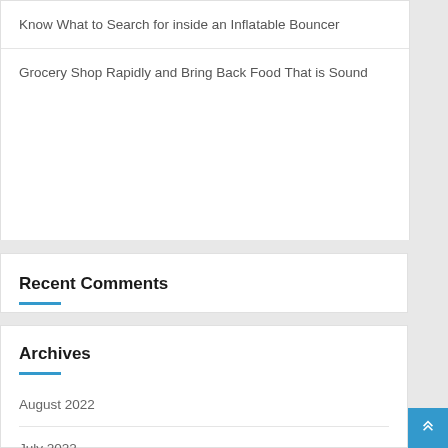Know What to Search for inside an Inflatable Bouncer
Grocery Shop Rapidly and Bring Back Food That is Sound
Recent Comments
Archives
August 2022
July 2022